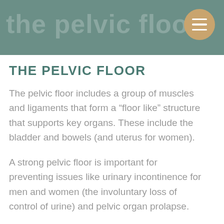the pelvic floor
THE PELVIC FLOOR
The pelvic floor includes a group of muscles and ligaments that form a “floor like” structure that supports key organs. These include the bladder and bowels (and uterus for women).
A strong pelvic floor is important for preventing issues like urinary incontinence for men and women (the involuntary loss of control of urine) and pelvic organ prolapse.